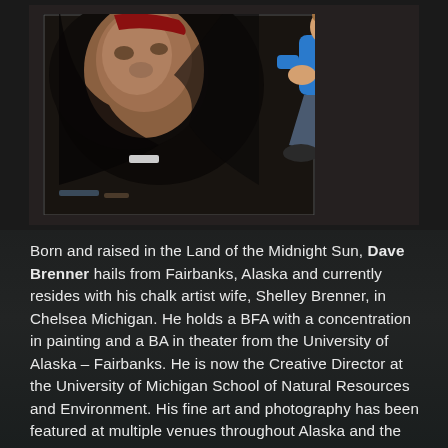[Figure (photo): A photo showing a large chalk street painting (portrait of an elderly person in a dark hood) with the chalk artist Dave Brenner crouching beside it wearing a blue t-shirt]
Born and raised in the Land of the Midnight Sun, Dave Brenner hails from Fairbanks, Alaska and currently resides with his chalk artist wife, Shelley Brenner, in Chelsea Michigan. He holds a BFA with a concentration in painting and a BA in theater from the University of Alaska – Fairbanks. He is now the Creative Director at the University of Michigan School of Natural Resources and Environment. His fine art and photography has been featured at multiple venues throughout Alaska and the Midwest. Dave discovered that his dual passions for painting and acting translated seamlessly into street painting. He loves to bring images to life in large scale while engaging with interested passersby.